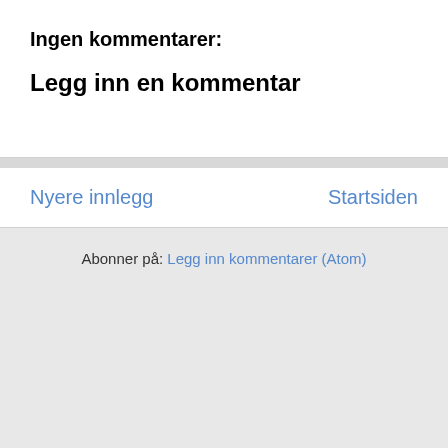Ingen kommentarer:
Legg inn en kommentar
Nyere innlegg
Startsiden
Abonner på: Legg inn kommentarer (Atom)